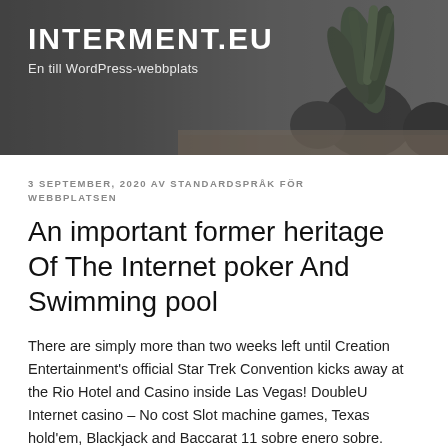[Figure (photo): Website header banner with dark background showing potted plants (succulent/snake plant) on a surface, with site title and tagline overlaid in white text]
INTERMENT.EU
En till WordPress-webbplats
3 SEPTEMBER, 2020 AV STANDARDSPRÅK FÖR WEBBPLATSEN
An important former heritage Of The Internet poker And Swimming pool
There are simply more than two weeks left until Creation Entertainment's official Star Trek Convention kicks away at the Rio Hotel and Casino inside Las Vegas! DoubleU Internet casino – No cost Slot machine games, Texas hold'em, Blackjack and Baccarat 11 sobre enero sobre. Press the website link below to maneuver to DUC's YouTube station > SUBSCRIBE > scroll down a little >